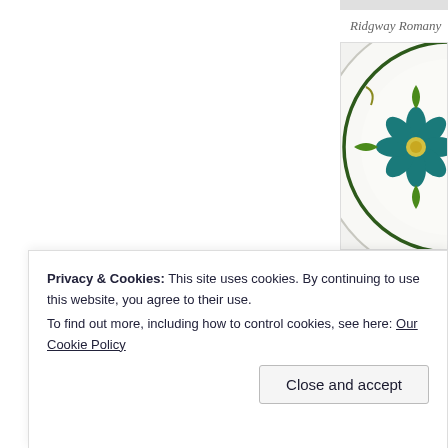[Figure (photo): Partial view of decorative ceramic plate with green circular line border and floral mandala pattern in teal, green, yellow and olive colors on cream/white background.]
Ridgway Romany
Privacy & Cookies: This site uses cookies. By continuing to use this website, you agree to their use.
To find out more, including how to control cookies, see here: Our Cookie Policy
Close and accept